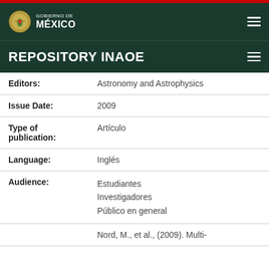GOBIERNO DE MÉXICO
REPOSITORY INAOE
| Field | Value |
| --- | --- |
| Editors: | Astronomy and Astrophysics |
| Issue Date: | 2009 |
| Type of publication: | Artículo |
| Language: | Inglés |
| Audience: | Estudiantes
Investigadores
Público en general |
|  | Nord, M., et al., (2009). Multi- |